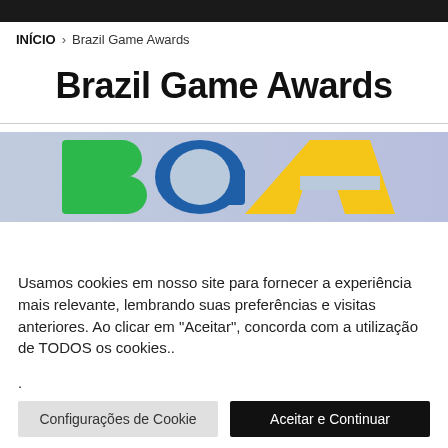INÍCIO > Brazil Game Awards
Brazil Game Awards
[Figure (logo): Brazil Game Awards (BGA) logo with green, blue, and yellow letter shapes on a light blue/purple gradient background]
Usamos cookies em nosso site para fornecer a experiência mais relevante, lembrando suas preferências e visitas anteriores. Ao clicar em "Aceitar", concorda com a utilização de TODOS os cookies..
.
Configurações de Cookie    Aceitar e Continuar